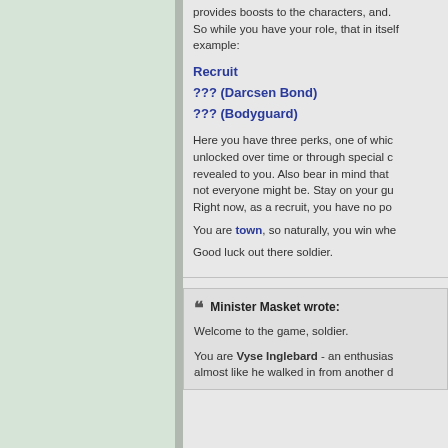provides boosts to the characters, and. So while you have your role, that in itself example:
Recruit
??? (Darcsen Bond)
??? (Bodyguard)
Here you have three perks, one of which unlocked over time or through special c revealed to you. Also bear in mind that not everyone might be. Stay on your gu Right now, as a recruit, you have no po
You are town, so naturally, you win whe
Good luck out there soldier.
Minister Masket wrote: Welcome to the game, soldier. You are Vyse Inglebard - an enthusias almost like he walked in from another d